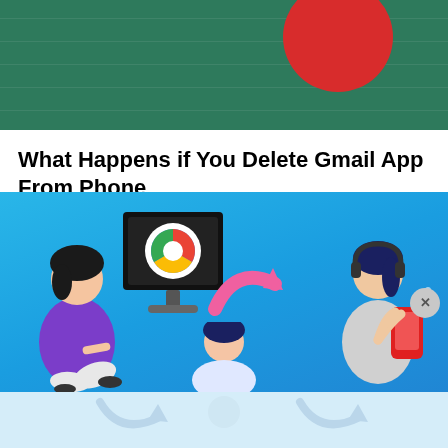[Figure (illustration): Dark green chalkboard background with a red circle partially visible in the upper right corner]
What Happens if You Delete Gmail App From Phone
If you're using a third-party email app, you might feel like uninstalling the Gmail app from your phone. Be it to troubleshoot the Gmail app,...
[Figure (illustration): Blue background illustration showing a woman in purple sitting at a Chrome browser monitor on the left, a pink curved arrow in the center, and a woman on the right holding a red phone. Below is a faded reflection on a light blue background.]